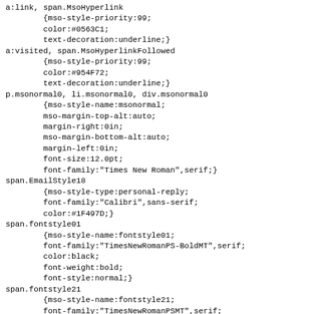a:link, span.MsoHyperlink
        {mso-style-priority:99;
        color:#0563C1;
        text-decoration:underline;}
a:visited, span.MsoHyperlinkFollowed
        {mso-style-priority:99;
        color:#954F72;
        text-decoration:underline;}
p.msonormal0, li.msonormal0, div.msonormal0
        {mso-style-name:msonormal;
        mso-margin-top-alt:auto;
        margin-right:0in;
        mso-margin-bottom-alt:auto;
        margin-left:0in;
        font-size:12.0pt;
        font-family:"Times New Roman",serif;}
span.EmailStyle18
        {mso-style-type:personal-reply;
        font-family:"Calibri",sans-serif;
        color:#1F497D;}
span.fontstyle01
        {mso-style-name:fontstyle01;
        font-family:"TimesNewRomanPS-BoldMT",serif;
        color:black;
        font-weight:bold;
        font-style:normal;}
span.fontstyle21
        {mso-style-name:fontstyle21;
        font-family:"TimesNewRomanPSMT",serif;
        color:black;
        font-style:normal;}